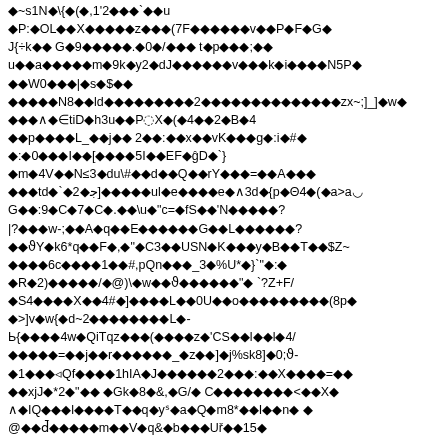◆~s1N◆\{◆(◆,1'2◆◆◆`◆◆u
◆P:◆OL◆◆X◆◆◆◆◆z◆◆◆(7F◆◆◆◆◆◆v◆◆P◆F◆G◆
J{÷k◆◆ G◆9◆◆◆◆◆.◆0◆/◆◆◆ t◆p◆◆◆;◆◆
u◆◆a◆◆◆◆◆m◆9k◆y2◆dJ◆◆◆◆◆◆v◆◆◆k◆i◆◆◆◆N5P◆
◆◆W0◆◆◆|◆s◆$◆◆
◆◆◆◆◆N8◆◆ld◆◆◆◆◆◆◆◆◆2◆◆◆◆◆◆◆◆◆◆◆◆◆◆zx~;]_]◆w◆
◆◆◆∧◆∈tiD◆h3u◆◆P◌X◆(◆4◆◆2◆B◆4
◆◆p◆◆◆◆L_◆◆j◆◆ 2◆◆:◆◆x◆◆vK◆◆◆g◆:i◆#◆
◆:◆0◆◆◆I◆◆[◆◆◆◆5I◆◆EF◆ĝD◆`}
◆m◆4V◆◆N≤3◆du\#◆◆d◆◆Q◆◆rY◆◆◆=◆◆A◆◆◆
◆◆◆td◆`◆2◆ﺟ]◆◆◆◆◆ul◆e◆◆◆◆e◆∧3d◆{p◆Θ4◆(◆a>a◡
G◆◆:9◆C◆7◆C◆.◆◆\u◆"c=◆fS◆◆'N◆◆◆◆◆?
|?◆◆◆w-;◆◆A◆q◆◆E◆◆◆◆◆◆G◆◆L◆◆◆◆◆◆?
◆◆ϑY◆k6*q◆◆F◆,◆"◆C3◆◆USN◆K◆◆◆y◆B◆◆T◆◆$Z~
◆◆◆◆6c◆◆◆◆1◆◆#,pQn◆◆◆_3◆%U*◆}`"◆:◆
◆R◆2)◆◆◆◆◆/◆@)\◆w◆◆ϑ◆◆◆◆◆◆"◆ `?Z+F/
◆S4◆◆◆◆X◆◆4#◆]◆◆◆◆L◆◆0U◆◆o◆◆◆◆◆◆◆◆◆(8p◆
◆>]v◆w{◆d~2◆◆◆◆◆◆◆◆L◆-
Ь{◆◆◆◆4w◆QiTqz◆◆◆(◆◆◆◆z◆'CS◆◆l◆◆l◆4/
◆◆◆◆◆=◆◆j◆◆r◆◆◆◆◆◆_◆z◆◆]◆j%sk8]◆0;ϑ-
◆1◆◆◆◃Qf◆◆◆◆1hIA◆J◆◆◆◆◆◆2◆◆◆:◆◆Χ◆◆◆◆=◆◆
◆◆xjJ◆*2◆"◆◆ ◆Gk◆8◆&,◆G/◆ C◆◆◆◆◆◆◆◆<◆◆X◆
∧◆IQ◆◆◆l◆◆◆◆T◆◆q◆yˢ◆a◆Q◆m8*◆◆I◆◆n◆ ◆
@◆◆d̄◆◆◆◆◆m◆◆V◆q&◆b◆◆◆Uř◆◆15◆